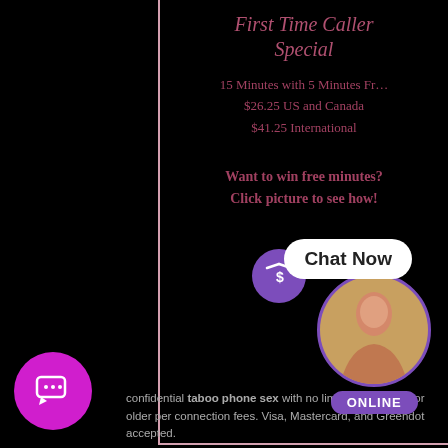[Figure (other): Promotional banner with pink border showing First Time Caller Special offer text on black background]
Share this:
[Figure (infographic): Row of social media icon circles: Reddit, Facebook, Twitter, Tumblr, Pinterest, Pocket, Email]
Like this:
Loading...
confidential taboo phone sex with no limits! Must be 18 or older per connection fees. Visa, Mastercard, and Greendot accepted.
[Figure (infographic): Chat widget with purple cash icon, Chat Now button, avatar circle with woman photo, and ONLINE badge]